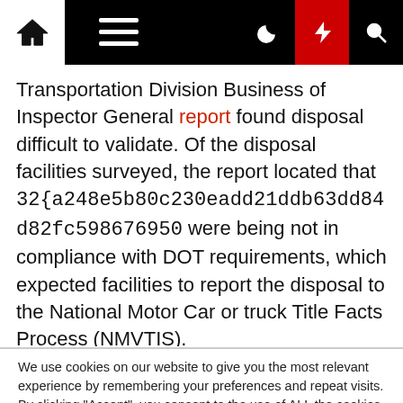Navigation bar with home icon, menu icon, dark mode, lightning, and search buttons
Transportation Division Business of Inspector General report found disposal difficult to validate. Of the disposal facilities surveyed, the report located that 32{a248e5b80c230eadd21ddb63dd84d82fc598676950 were being not in compliance with DOT requirements, which expected facilities to report the disposal to the National Motor Car or truck Title Facts Process (NMVTIS).
We use cookies on our website to give you the most relevant experience by remembering your preferences and repeat visits. By clicking “Accept”, you consent to the use of ALL the cookies.